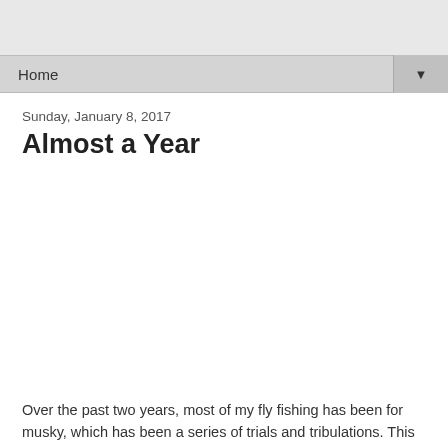Home
Sunday, January 8, 2017
Almost a Year
[Figure (photo): Large image placeholder area (white/blank image region)]
Over the past two years, most of my fly fishing has been for musky, which has been a series of trials and tribulations. This winter, I had high hopes of fooling a few good